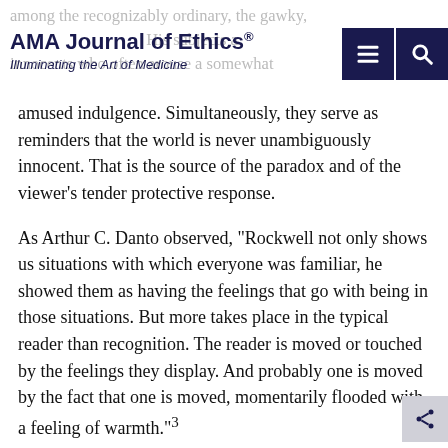AMA Journal of Ethics® Illuminating the Art of Medicine
amused indulgence. Simultaneously, they serve as reminders that the world is never unambiguously innocent. That is the source of the paradox and of the viewer's tender protective response.
As Arthur C. Danto observed, "Rockwell not only shows us situations with which everyone was familiar, he showed them as having the feelings that go with being in those situations. But more takes place in the typical reader than recognition. The reader is moved or touched by the feelings they display. And probably one is moved by the fact that one is moved, momentarily flooded with a feeling of warmth."3